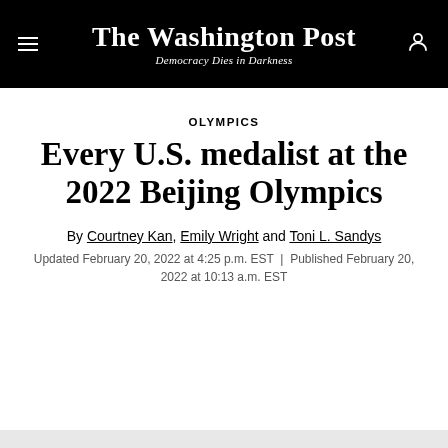The Washington Post — Democracy Dies in Darkness
OLYMPICS
Every U.S. medalist at the 2022 Beijing Olympics
By Courtney Kan, Emily Wright and Toni L. Sandys
Updated February 20, 2022 at 4:25 p.m. EST | Published February 20, 2022 at 10:13 a.m. EST